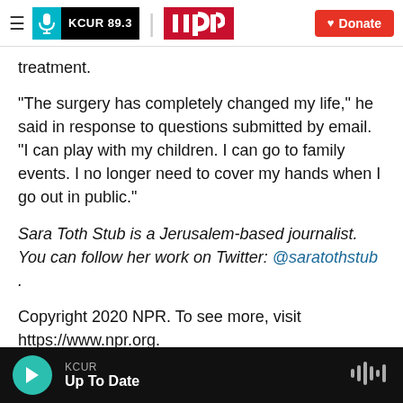KCUR 89.3 | npr | Donate
treatment.
"The surgery has completely changed my life," he said in response to questions submitted by email. "I can play with my children. I can go to family events. I no longer need to cover my hands when I go out in public."
Sara Toth Stub is a Jerusalem-based journalist. You can follow her work on Twitter: @saratothstub .
Copyright 2020 NPR. To see more, visit https://www.npr.org.
KCUR | Up To Date